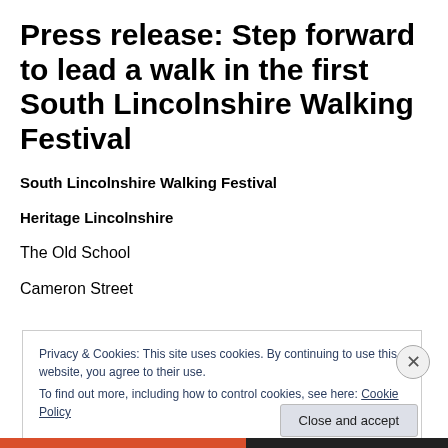Press release: Step forward to lead a walk in the first South Lincolnshire Walking Festival
South Lincolnshire Walking Festival
Heritage Lincolnshire
The Old School
Cameron Street
Privacy & Cookies: This site uses cookies. By continuing to use this website, you agree to their use.
To find out more, including how to control cookies, see here: Cookie Policy
Close and accept